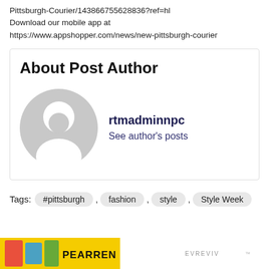Pittsburgh-Courier/143866755628836?ref=hl
Download our mobile app at https://www.appshopper.com/news/new-pittsburgh-courier
About Post Author
[Figure (illustration): Generic user avatar silhouette in gray — a circle for the head and a rounded torso shape, standard placeholder profile image.]
rtmadminnpc
See author's posts
Tags:  #pittsburgh  ,  fashion  ,  style  ,  Style Week
[Figure (photo): Advertisement banner at the bottom of the page with yellow background on the left side showing partial text and white background on the right side.]